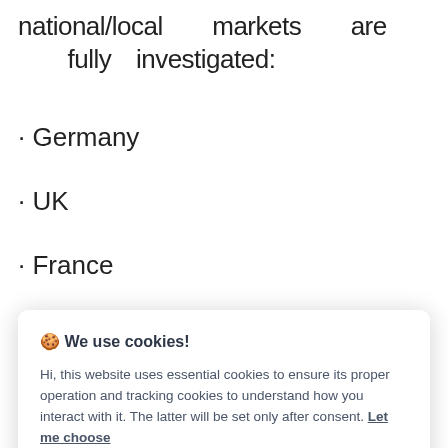national/local markets are fully investigated:
· Germany
· UK
· France
🍪 We use cookies! Hi, this website uses essential cookies to ensure its proper operation and tracking cookies to understand how you interact with it. The latter will be set only after consent. Let me choose
Accept all
Reject all
detailed analysis and data for annual